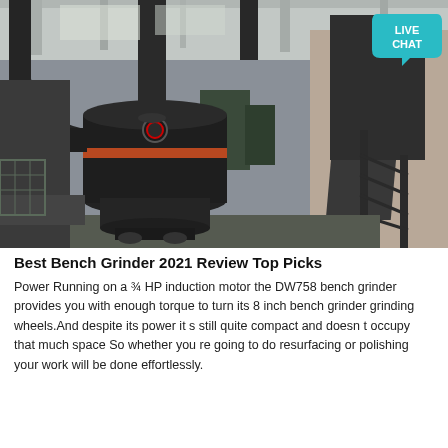[Figure (photo): Industrial grinder machine (mill) in a factory/warehouse setting with large black cylindrical body, pipes, dust collector, and metal staircase structure in the background.]
Best Bench Grinder 2021 Review Top Picks
Power Running on a ¾ HP induction motor the DW758 bench grinder provides you with enough torque to turn its 8 inch bench grinder grinding wheels.And despite its power it s still quite compact and doesn t occupy that much space So whether you re going to do resurfacing or polishing your work will be done effortlessly.